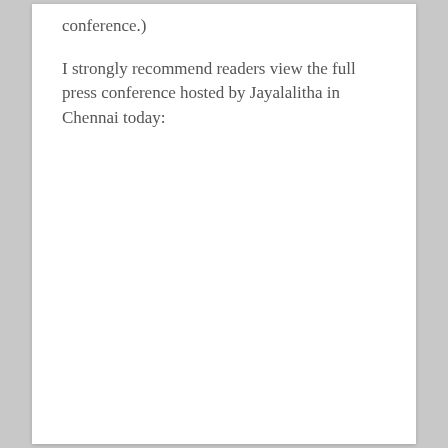conference.)
I strongly recommend readers view the full press conference hosted by Jayalalitha in Chennai today: